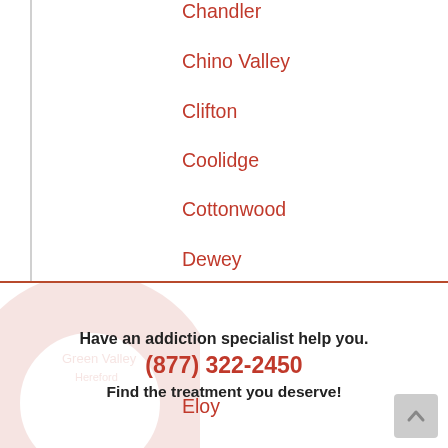Chandler
Chino Valley
Clifton
Coolidge
Cottonwood
Dewey
Douglas
El Mirage
Eloy
Flagstaff
Fort Defiance
Fort Huachuca
Fredonia
Ganado
Gilbert
Glendale
Have an addiction specialist help you.
(877) 322-2450
Find the treatment you deserve!